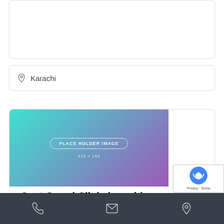(empty input box - top)
Karachi
[Figure (illustration): Placeholder image with teal-to-purple gradient, rounded rectangle border labeled PLACE HOLDER IMAGE]
Cost Guard Clinic karachi
Be the first one to rate!
Hospital
Karachi
[Figure (other): Bottom navigation bar with phone, mail, and location icons on dark background]
[Figure (other): reCAPTCHA badge with Privacy and Terms links]